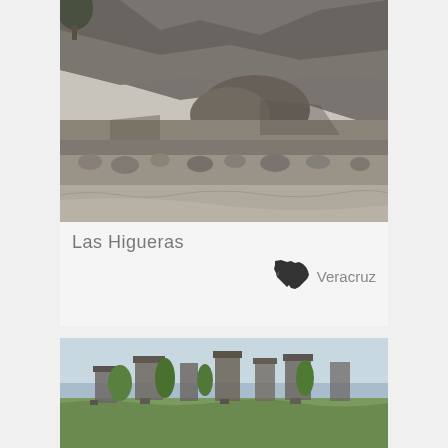[Figure (photo): Black and white photo of ancient stone pyramid ruins at Las Higueras, showing stacked stone walls and rubble with a tree visible at top left]
Las Higueras
[Figure (illustration): Small silhouette map of Mexico]
Veracruz
[Figure (photo): Color photograph of ancient ruins with green grass and stone structures against a skyline with water visible in the background]